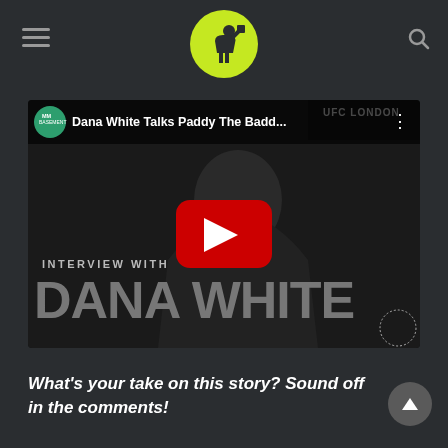MMA Basement logo header with hamburger menu and search icon
[Figure (screenshot): YouTube video thumbnail for 'Dana White Talks Paddy The Badd...' from MMA Basement channel, showing UFC London interview with Dana White. Video has play button, 'INTERVIEW WITH' label and 'DANA WHITE' large text overlay.]
What's your take on this story? Sound off in the comments!